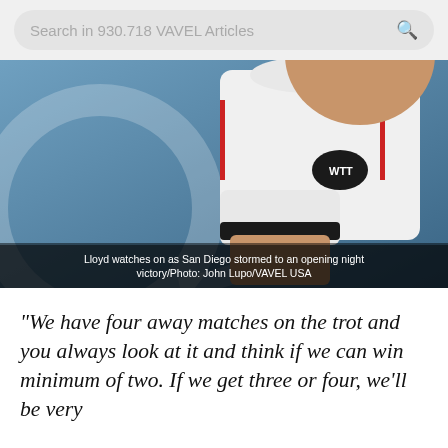Search in 930.718 VAVEL Articles
[Figure (photo): A tennis player wearing a white WTT-branded shirt viewed from the side, with a blurred tennis ball logo in the background on a blue court.]
Lloyd watches on as San Diego stormed to an opening night victory/Photo: John Lupo/VAVEL USA
"We have four away matches on the trot and you always look at it and think if we can win minimum of two. If we get three or four, we'll be very